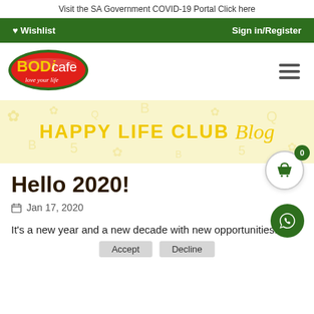Visit the SA Government COVID-19 Portal Click here
♥ Wishlist   Sign in/Register
[Figure (logo): BODicafe logo — red oval with green border, yellow text BODi and white text cafe, tagline 'love your life']
[Figure (illustration): Happy Life Club Blog banner — yellow background with decorative icons, bold yellow text 'HAPPY LIFE CLUB' and italic cursive 'Blog']
Hello 2020!
Jan 17, 2020
It's a new year and a new decade with new opportunities!